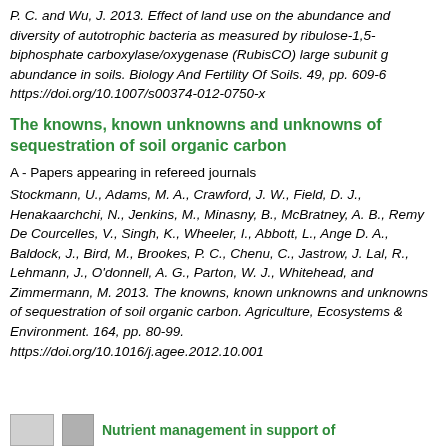P. C. and Wu, J. 2013. Effect of land use on the abundance and diversity of autotrophic bacteria as measured by ribulose-1,5-biphosphate carboxylase/oxygenase (RubisCO) large subunit gene abundance in soils. Biology And Fertility Of Soils. 49, pp. 609-6 https://doi.org/10.1007/s00374-012-0750-x
The knowns, known unknowns and unknowns of sequestration of soil organic carbon
A - Papers appearing in refereed journals
Stockmann, U., Adams, M. A., Crawford, J. W., Field, D. J., Henakaarchchi, N., Jenkins, M., Minasny, B., McBratney, A. B., Remy De Courcelles, V., Singh, K., Wheeler, I., Abbott, L., Ange D. A., Baldock, J., Bird, M., Brookes, P. C., Chenu, C., Jastrow, J. Lal, R., Lehmann, J., O'donnell, A. G., Parton, W. J., Whitehead, and Zimmermann, M. 2013. The knowns, known unknowns and unknowns of sequestration of soil organic carbon. Agriculture, Ecosystems & Environment. 164, pp. 80-99. https://doi.org/10.1016/j.agee.2012.10.001
Nutrient management in support of